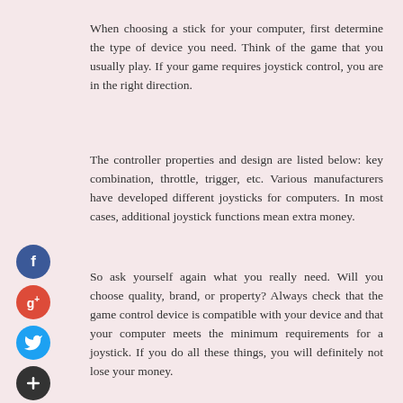When choosing a stick for your computer, first determine the type of device you need. Think of the game that you usually play. If your game requires joystick control, you are in the right direction.
The controller properties and design are listed below: key combination, throttle, trigger, etc. Various manufacturers have developed different joysticks for computers. In most cases, additional joystick functions mean extra money.
So ask yourself again what you really need. Will you choose quality, brand, or property? Always check that the game control device is compatible with your device and that your computer meets the minimum requirements for a joystick. If you do all these things, you will definitely not lose your money.